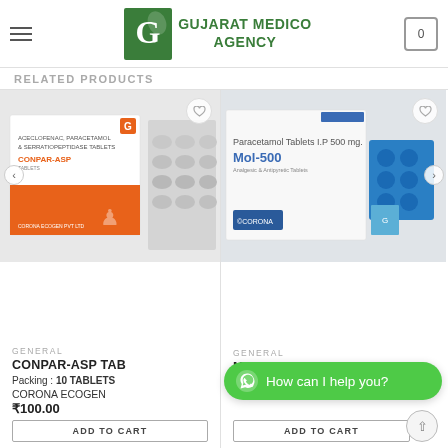GUJARAT MEDICO AGENCY
RELATED PRODUCTS
[Figure (photo): Product photo of CONPAR-ASP TAB - Aceclofenac, Paracetamol & Serratiopeptidase Tablets blister pack and box]
[Figure (photo): Product photo of MOL-500 TAB - Paracetamol Tablets I.P 500mg blister pack and box by Corona]
GENERAL
CONPAR-ASP TAB
Packing: 10 TABLETS
CORONA ECOGEN
₹100.00
GENERAL
MOL-500 TAB
Packing: 10 TABLETS
How can I help you?